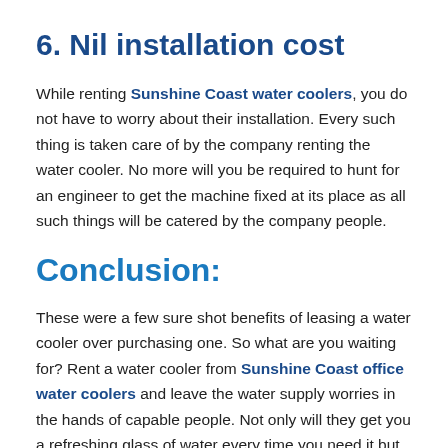6. Nil installation cost
While renting Sunshine Coast water coolers, you do not have to worry about their installation. Every such thing is taken care of by the company renting the water cooler. No more will you be required to hunt for an engineer to get the machine fixed at its place as all such things will be catered by the company people.
Conclusion:
These were a few sure shot benefits of leasing a water cooler over purchasing one. So what are you waiting for? Rent a water cooler from Sunshine Coast office water coolers and leave the water supply worries in the hands of capable people. Not only will they get you a refreshing glass of water every time you need it but will also take care that it is healthy and clean for you to